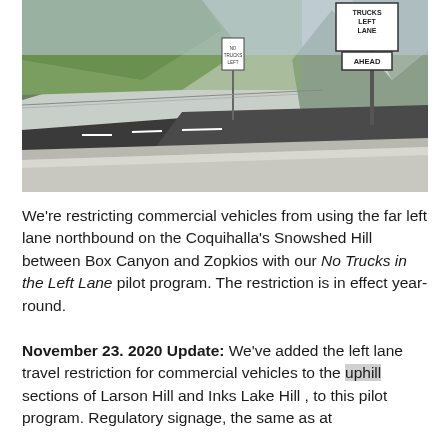[Figure (photo): Highway photo showing a multi-lane road (Coquihalla Highway) with a concrete barrier wall in the foreground, green hills and mountains in the background. A 'Trucks Left Lane Ahead' sign is visible on the right side of the image.]
We're restricting commercial vehicles from using the far left lane northbound on the Coquihalla's Snowshed Hill between Box Canyon and Zopkios with our No Trucks in the Left Lane pilot program. The restriction is in effect year-round.
November 23. 2020 Update: We've added the left lane travel restriction for commercial vehicles to the uphill sections of Larson Hill and Inks Lake Hill , to this pilot program. Regulatory signage, the same as at